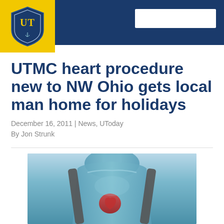University of Toledo - UTMC
[Figure (logo): University of Toledo shield logo on gold background with UT letters]
UTMC heart procedure new to NW Ohio gets local man home for holidays
December 16, 2011 | News, UToday
By Jon Strunk
[Figure (illustration): Medical illustration of a human torso/chest with a heart device, showing anatomical view with what appears to be a heart pump or cardiac assist device with straps]